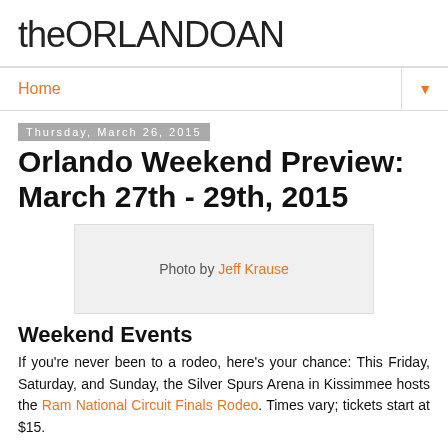theORLANDOAN
Home
Thursday, March 26, 2015
Orlando Weekend Preview: March 27th - 29th, 2015
[Figure (photo): Photo placeholder with credit: Photo by Jeff Krause]
Weekend Events
If you're never been to a rodeo, here's your chance: This Friday, Saturday, and Sunday, the Silver Spurs Arena in Kissimmee hosts the Ram National Circuit Finals Rodeo. Times vary; tickets start at $15.
Friday, March 27th